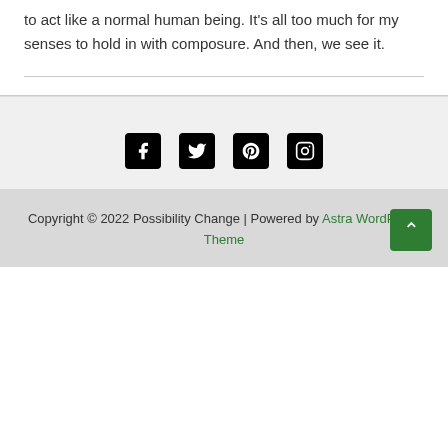to act like a normal human being. It's all too much for my senses to hold in with composure. And then, we see it.
[Figure (infographic): Social media icons: Facebook, Twitter, Pinterest, Instagram — white icons on black square backgrounds]
Copyright © 2022 Possibility Change | Powered by Astra WordPress Theme